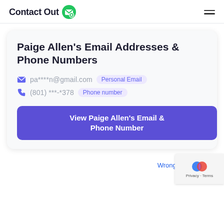ContactOut
Paige Allen's Email Addresses & Phone Numbers
pa****n@gmail.com  Personal Email
(801) ***-*378  Phone number
View Paige Allen's Email & Phone Number
Wrong Paige A...